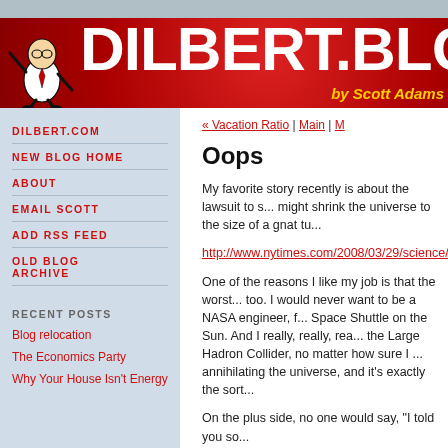[Figure (illustration): Dilbert blog header banner with red background, Dilbert character on the left, DILBERT.BLOG title in white text, 'by Scott Adams' in yellow italic text]
DILBERT.COM
NEW BLOG HOME
ABOUT
EMAIL SCOTT
ADD RSS FEED
OLD BLOG ARCHIVE
RECENT POSTS
Blog relocation
The Economics Party
Why Your House Isn't Energy
« Vacation Ratio | Main | M
Oops
My favorite story recently is about the lawsuit to s... might shrink the universe to the size of a gnat tu...
http://www.nytimes.com/2008/03/29/science/29c...
One of the reasons I like my job is that the worst... too. I would never want to be a NASA engineer, f... Space Shuttle on the Sun. And I really, really, rea... the Large Hadron Collider, no matter how sure I ... annihilating the universe, and it's exactly the sort...
On the plus side, no one would say, "I told you so...